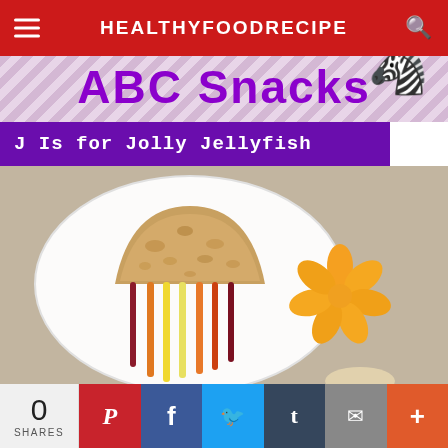HEALTHYFOODRECIPE
ABC Snacks
J Is for Jolly Jellyfish
[Figure (photo): A white plate with a jellyfish made from a half-circle pita bread as the body and colorful vegetable strips as tentacles, plus mandarin orange segments arranged as a flower/star shape beside it, on a tan/beige surface.]
0 SHARES